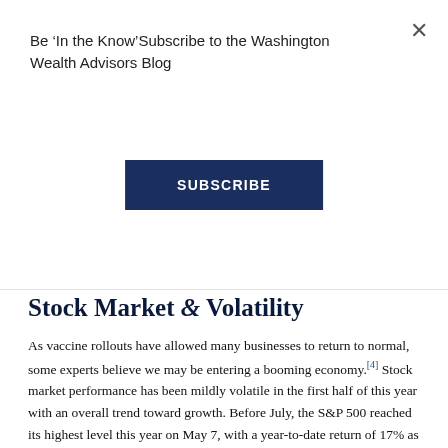Be ‘In the Know’Subscribe to the Washington Wealth Advisors Blog
SUBSCRIBE
Stock Market & Volatility
As vaccine rollouts have allowed many businesses to return to normal, some experts believe we may be entering a booming economy.[4] Stock market performance has been mildly volatile in the first half of this year with an overall trend toward growth. Before July, the S&P 500 reached its highest level this year on May 7, with a year-to-date return of 17% as of July 2.[5] The Dow Jones has also shown overall growth this year and is up 15% as of July 2.[6]
Meanwhile, the NASDAQ has shown greater volatility